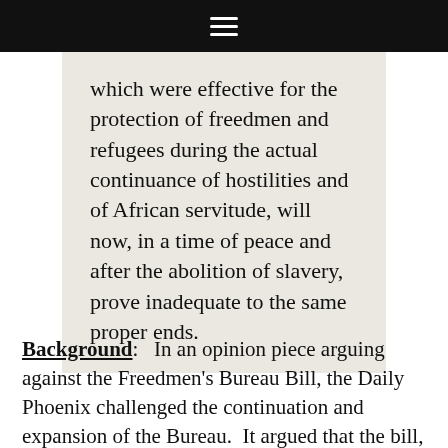which were effective for the protection of freedmen and refugees during the actual continuance of hostilities and of African servitude, will now, in a time of peace and after the abolition of slavery, prove inadequate to the same proper ends.
Background:   In an opinion piece arguing against the Freedmen's Bureau Bill, the Daily Phoenix challenged the continuation and expansion of the Bureau.  It argued that the bill, allowing for an